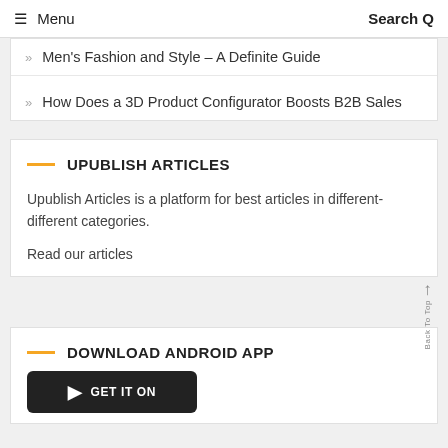≡ Menu   Search Q
» Men's Fashion and Style – A Definite Guide
» How Does a 3D Product Configurator Boosts B2B Sales
UPUBLISH ARTICLES
Upublish Articles is a platform for best articles in different-different categories.
Read our articles
DOWNLOAD ANDROID APP
[Figure (screenshot): GET IT ON button for Android app download]